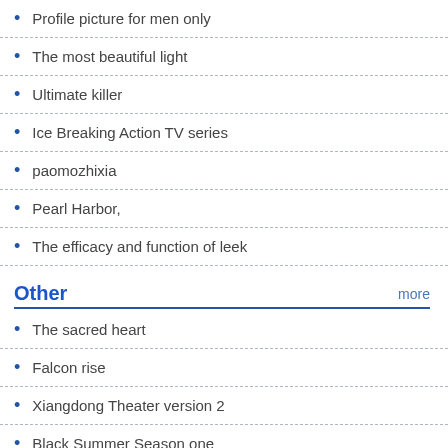Profile picture for men only
The most beautiful light
Ultimate killer
Ice Breaking Action TV series
paomozhixia
Pearl Harbor,
The efficacy and function of leek
Other
The sacred heart
Falcon rise
Xiangdong Theater version 2
Black Summer Season one
Shanshan is here with the uncut version